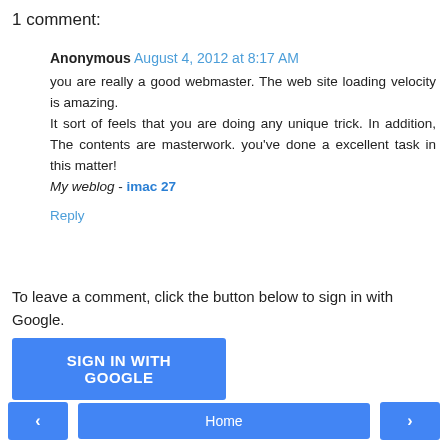1 comment:
Anonymous  August 4, 2012 at 8:17 AM
you are really a good webmaster. The web site loading velocity is amazing.
It sort of feels that you are doing any unique trick. In addition, The contents are masterwork. you've done a excellent task in this matter!
My weblog - imac 27
Reply
To leave a comment, click the button below to sign in with Google.
[Figure (other): SIGN IN WITH GOOGLE blue button]
[Figure (other): Navigation bar with left arrow, Home, and right arrow buttons]